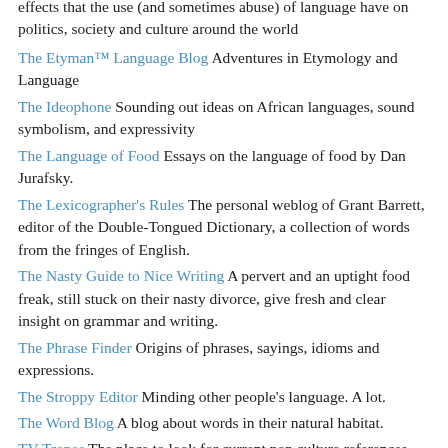effects that the use (and sometimes abuse) of language have on politics, society and culture around the world
The Etyman™ Language Blog Adventures in Etymology and Language
The Ideophone Sounding out ideas on African languages, sound symbolism, and expressivity
The Language of Food Essays on the language of food by Dan Jurafsky.
The Lexicographer's Rules The personal weblog of Grant Barrett, editor of the Double-Tongued Dictionary, a collection of words from the fringes of English.
The Nasty Guide to Nice Writing A pervert and an uptight food freak, still stuck on their nasty divorce, give fresh and clear insight on grammar and writing.
The Phrase Finder Origins of phrases, sayings, idioms and expressions.
The Stroppy Editor Minding other people's language. A lot.
The Word Blog A blog about words in their natural habitat.
TV Tropes The place to look for current pop culture references.
word nerd The blog of language columnist Howard Richler.
Word Spy The word lover's guide to new words.
wordcount.org A ranking by frequency of 86,800 words of British